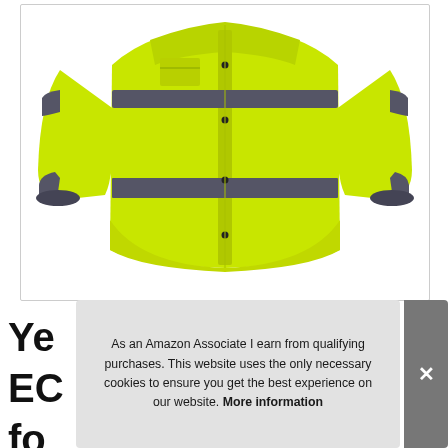[Figure (photo): A high-visibility safety jacket in bright yellow-green (lime) color with dark gray/charcoal reflective strips across the chest, waist, and sleeves. The jacket has snap/button closures down the front and appears to be a rain jacket or work jacket. Shown on a white background.]
Ye
EC
fo
As an Amazon Associate I earn from qualifying purchases. This website uses the only necessary cookies to ensure you get the best experience on our website. More information